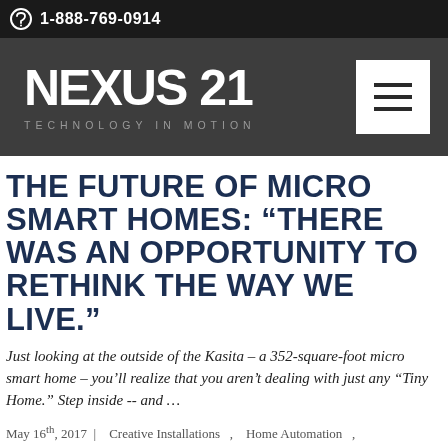1-888-769-0914
[Figure (logo): Nexus 21 logo with tagline 'Technology in Motion' on dark background with hamburger menu button]
THE FUTURE OF MICRO SMART HOMES: “THERE WAS AN OPPORTUNITY TO RETHINK THE WAY WE LIVE.”
Just looking at the outside of the Kasita – a 352-square-foot micro smart home – you’ll realize that you aren’t dealing with just any “Tiny Home.” Step inside -- and …
May 16th, 2017  |    Creative Installations  ,   Home Automation  ,